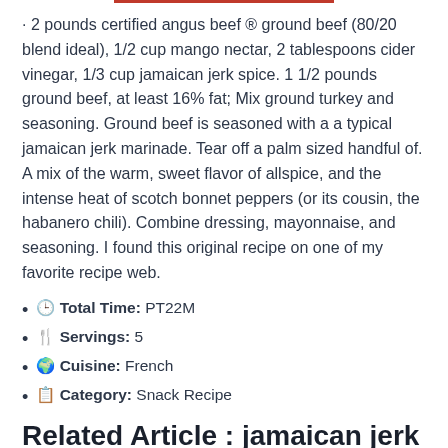· 2 pounds certified angus beef ® ground beef (80/20 blend ideal), 1/2 cup mango nectar, 2 tablespoons cider vinegar, 1/3 cup jamaican jerk spice. 1 1/2 pounds ground beef, at least 16% fat; Mix ground turkey and seasoning. Ground beef is seasoned with a a typical jamaican jerk marinade. Tear off a palm sized handful of. A mix of the warm, sweet flavor of allspice, and the intense heat of scotch bonnet peppers (or its cousin, the habanero chili). Combine dressing, mayonnaise, and seasoning. I found this original recipe on one of my favorite recipe web.
🕐 Total Time: PT22M
🍽 Servings: 5
🌍 Cuisine: French
📋 Category: Snack Recipe
Related Article : jamaican jerk burgers recipe